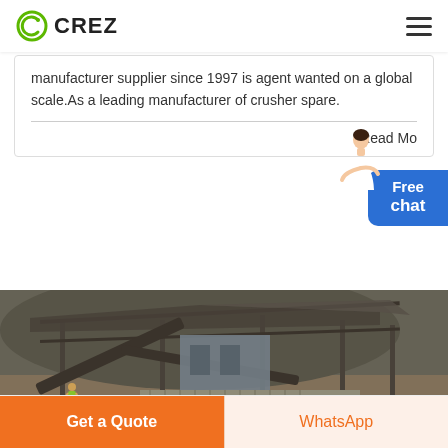CREZ
manufacturer supplier since 1997 is agent wanted on a global scale.As a leading manufacturer of crusher spare.
Read Mo...
[Figure (photo): Industrial crusher/mining facility with steel frame structure, conveyor belts, and a worker in high-visibility jacket in foreground]
Get a Quote
WhatsApp